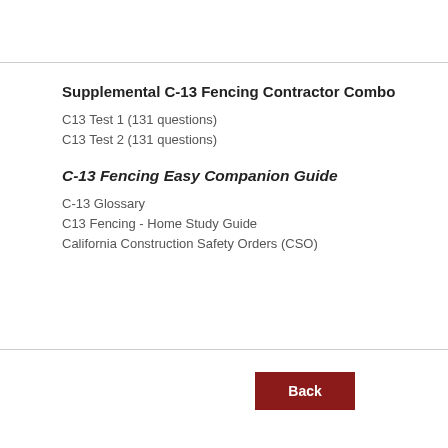Supplemental C-13 Fencing Contractor Combo
C13 Test 1 (131 questions)
C13 Test 2 (131 questions)
C-13 Fencing Easy Companion Guide
C-13 Glossary
C13 Fencing - Home Study Guide
California Construction Safety Orders (CSO)
Back